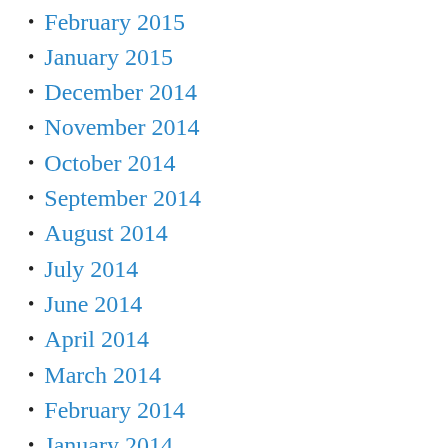February 2015
January 2015
December 2014
November 2014
October 2014
September 2014
August 2014
July 2014
June 2014
April 2014
March 2014
February 2014
January 2014
October 2013
September 2013